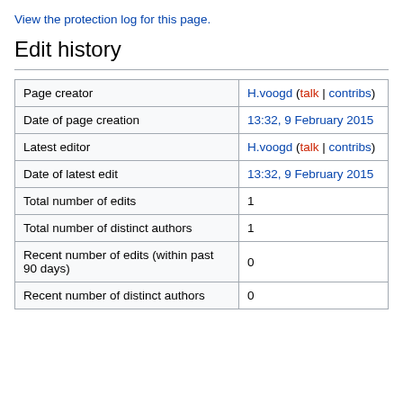View the protection log for this page.
Edit history
|  |  |
| --- | --- |
| Page creator | H.voogd (talk | contribs) |
| Date of page creation | 13:32, 9 February 2015 |
| Latest editor | H.voogd (talk | contribs) |
| Date of latest edit | 13:32, 9 February 2015 |
| Total number of edits | 1 |
| Total number of distinct authors | 1 |
| Recent number of edits (within past 90 days) | 0 |
| Recent number of distinct authors | 0 |